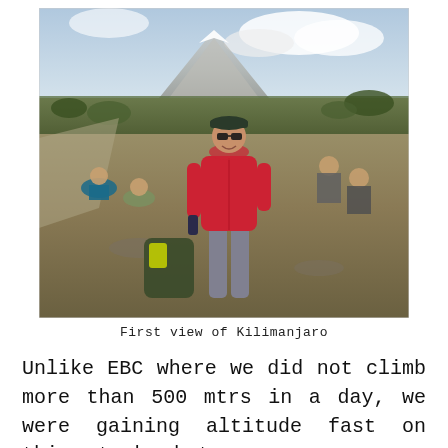[Figure (photo): A woman in a red puffer jacket and dark cap standing on rocky terrain on the slopes of Kilimanjaro. Other hikers rest in the background. The mountain peak is visible partially through clouds in the background. Sparse vegetation and a dirt path are visible.]
First view of Kilimanjaro
Unlike EBC where we did not climb more than 500 mtrs in a day, we were gaining altitude fast on this trek but as our oxygen rating